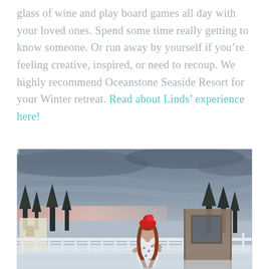glass of wine and play board games all day with your loved ones. Spend some time really getting to know someone. Or run away by yourself if you're feeling creative, inspired, or need to recoup. We highly recommend Oceanstone Seaside Resort for your Winter retreat. Read about Linds' experience here!
[Figure (photo): A woman standing on a snow-covered deck or balcony with a white railing, wearing a patterned dress and a red hat. The background shows a winter landscape with trees, buildings, and a dramatic sunset sky with pink and grey clouds.]